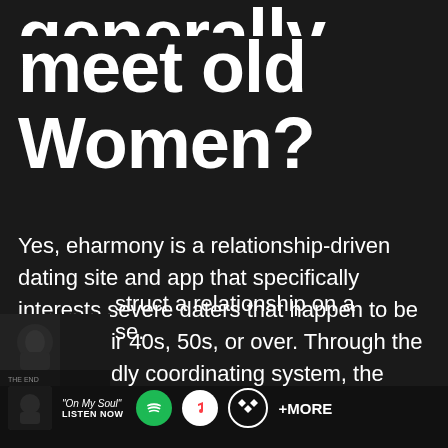generally meet old Women?
Yes, eharmony is a relationship-driven dating site and app that specifically interests severe daters that happen to be within their 40s, 50s, or over. Through the user-friendly coordinating system, the working platform is ideal for satisfying a mature girl struct a relationship on a se.
[Figure (screenshot): Bottom music player bar showing a thumbnail photo on the left, song title 'On My Soul' with LISTEN NOW text, and streaming service icons for Spotify, Apple Music, Tidal, and +MORE]
[Figure (photo): Partial dark photo of a person/skull in lower left corner]